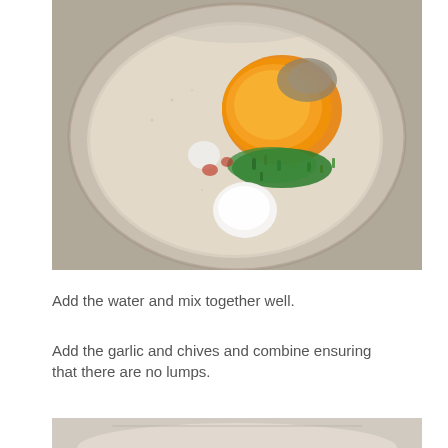[Figure (photo): Top-down view of a bowl containing flour or grain powder with spices including turmeric (orange/yellow powder), chopped green herbs (chives), white salt or yogurt, and other spices mixed together.]
Add the water and mix together well.
Add the garlic and chives and combine ensuring that there are no lumps.
[Figure (photo): Partial view of a bowl with mixed batter and ingredients, partially visible at the bottom of the page.]